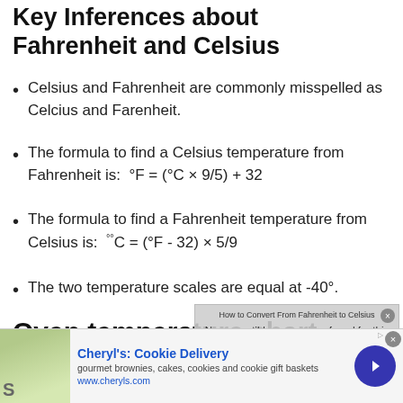Key Inferences about Fahrenheit and Celsius
Celsius and Fahrenheit are commonly misspelled as Celcius and Farenheit.
The formula to find a Celsius temperature from Fahrenheit is:  °F = (°C × 9/5) + 32
The formula to find a Fahrenheit temperature from Celsius is:  °°C = (°F - 32) × 5/9
The two temperature scales are equal at -40°.
Oven temperature chart
[Figure (other): Video overlay: 'How to Convert From Fahrenheit to Celsius' with message 'No compatible source was found for this media.']
[Figure (other): Advertisement: Cheryl's Cookie Delivery - gourmet brownies, cakes, cookies and cookie gift baskets. www.cheryls.com]